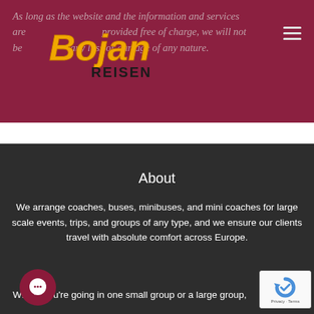As long as the website and the information and services are provided free of charge, we will not be liable for any loss or damage of any nature.
[Figure (logo): Bojan Reisen logo with yellow and gold stylized text 'Bojan' above black text 'REISEN']
About
We arrange coaches, buses, minibuses, and mini coaches for large scale events, trips, and groups of any type, and we ensure our clients travel with absolute comfort across Europe.
Whether you're going in one small group or a large group,